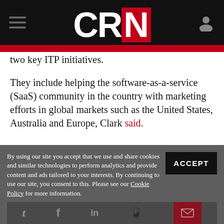CRN
two key ITP initiatives.
They include helping the software-as-a-service (SaaS) community in the country with marketing efforts in global markets such as the United States, Australia and Europe, Clark said.
By using our site you accept that we use and share cookies and similar technologies to perform analytics and provide content and ads tailored to your interests. By continuing to use our site, you consent to this. Please see our Cookie Policy for more information.